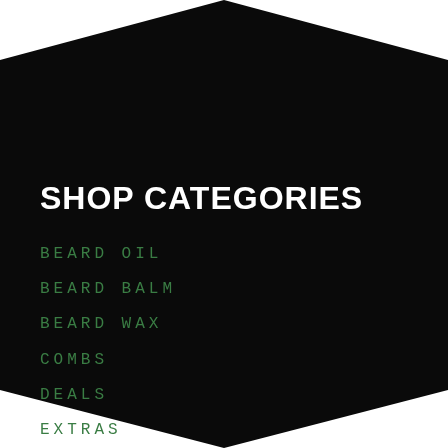[Figure (illustration): Black pentagon/arrow-down shape serving as background, with white background visible at top corners outside the shape]
SHOP CATEGORIES
BEARD OIL
BEARD BALM
BEARD WAX
COMBS
DEALS
EXTRAS